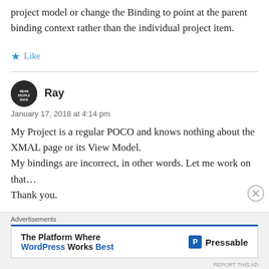project model or change the Binding to point at the parent binding context rather than the individual project item.
Like
Ray
January 17, 2018 at 4:14 pm
My Project is a regular POCO and knows nothing about the XMAL page or its View Model.
My bindings are incorrect, in other words. Let me work on that…
Thank you.
Advertisements
The Platform Where WordPress Works Best   Pressable